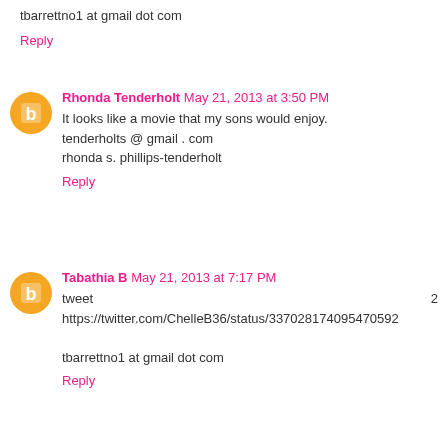tbarrettno1 at gmail dot com
Reply
Rhonda Tenderholt May 21, 2013 at 3:50 PM
It looks like a movie that my sons would enjoy.
tenderholts @ gmail . com
rhonda s. phillips-tenderholt
Reply
Tabathia B May 21, 2013 at 7:17 PM
tweet
https://twitter.com/ChelleB36/status/337028174095470592

tbarrettno1 at gmail dot com
Reply